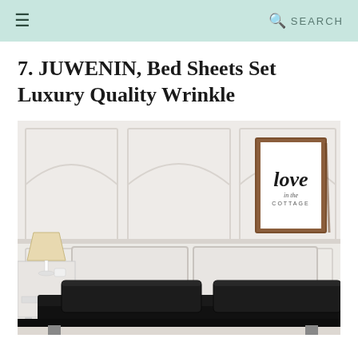≡  SEARCH
7. JUWENIN, Bed Sheets Set Luxury Quality Wrinkle
[Figure (photo): Product photo of JUWENIN black bed sheets set on a bed with white paneled headboard wall, a framed 'love' art print on the right, and a white lamp on the left nightstand.]